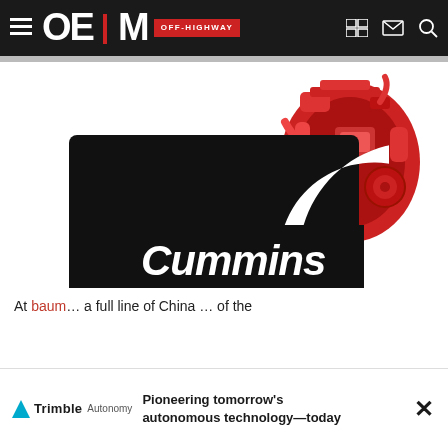OEM OFF-HIGHWAY
[Figure (photo): Red Cummins engine component visible at top center of page]
[Figure (logo): Cummins logo — large black C-shape with 'Cummins' text in white italic script, registered trademark symbol]
At bauma… a full line of China … of the
[Figure (infographic): Trimble Autonomy advertisement banner: 'Pioneering tomorrow's autonomous technology—today']